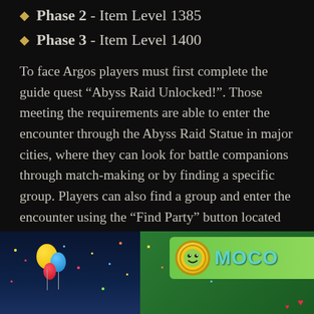Phase 2 - Item Level 1385
Phase 3 - Item Level 1400
To face Argos players must first complete the guide quest “Abyss Raid Unlocked!”. Those meeting the requirements are able to enter the encounter through the Abyss Raid Statue in major cities, where they can look for battle companions through match-making or by finding a specific group. Players can also find a group and enter the encounter using the “Find Party” button located below the mini-map.
GENERAL UPDATES
ARKESIA GRAND PRIX
[Figure (photo): Two side-by-side game screenshots: left shows colorful balloons in a night sky with confetti lights; right shows a green Moco sign/logo from the Arkesia Grand Prix event.]